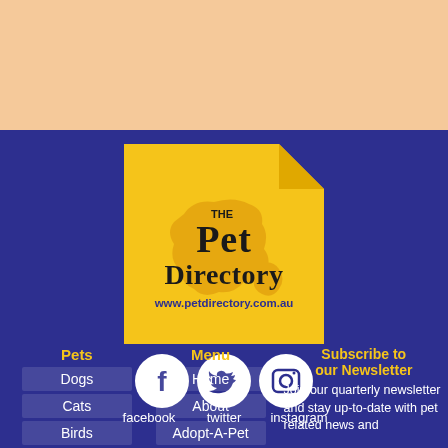[Figure (illustration): Peach/salmon colored banner bar at top of page]
[Figure (logo): The Pet Directory logo - yellow square with dog-ear fold top right, text 'THE PET DIRECTORY www.petdirectory.com.au' in black and blue, orange Australia map silhouette in background]
[Figure (infographic): Social media icons row: Facebook (circle with f), Twitter (circle with bird), Instagram (circle with camera). Labels below: facebook, twitter, instagram]
Pets
Dogs
Cats
Birds
Menu
Home
About
Adopt-A-Pet
Subscribe to our Newsletter
Join our quarterly newsletter and stay up-to-date with pet related news and